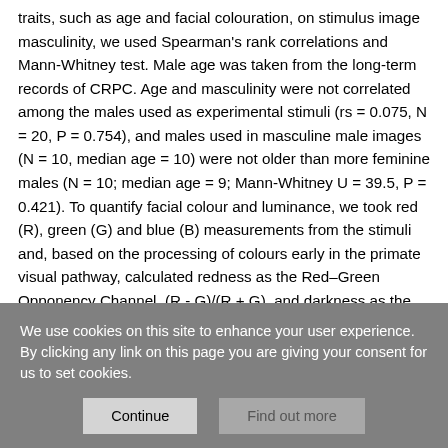traits, such as age and facial colouration, on stimulus image masculinity, we used Spearman's rank correlations and Mann-Whitney test. Male age was taken from the long-term records of CRPC. Age and masculinity were not correlated among the males used as experimental stimuli (rs = 0.075, N = 20, P = 0.754), and males used in masculine male images (N = 10, median age = 10) were not older than more feminine males (N = 10; median age = 9; Mann-Whitney U = 39.5, P = 0.421). To quantify facial colour and luminance, we took red (R), green (G) and blue (B) measurements from the stimuli and, based on the processing of colours early in the primate visual pathway, calculated redness as the Red–Green Opponency Channel, (R - G)/(R + G), and darkness as the Luminance (achromatic) Channel (R + G)/2 [46]
We use cookies on this site to enhance your user experience. By clicking any link on this page you are giving your consent for us to set cookies.